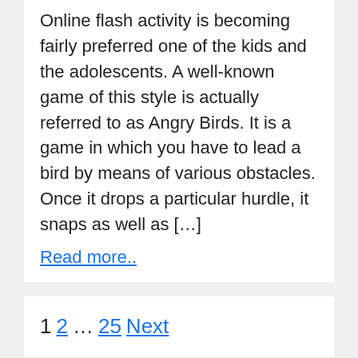Online flash activity is becoming fairly preferred one of the kids and the adolescents. A well-known game of this style is actually referred to as Angry Birds. It is a game in which you have to lead a bird by means of various obstacles. Once it drops a particular hurdle, it snaps as well as […]
Read more..
1  2  …  25  Next
Search …  Search